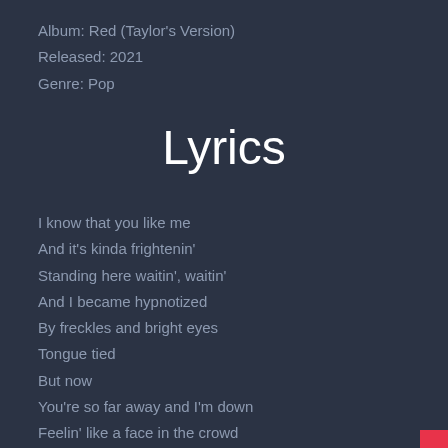Album: Red (Taylor's Version)
Released: 2021
Genre: Pop
Lyrics
I know that you like me
And it's kinda frightenin'
Standing here waitin', waitin'
And I became hypnotized
By freckles and bright eyes
Tongue tied
But now
You're so far away and I'm down
Feelin' like a face in the crowd
I'm reachin' for you, terrified